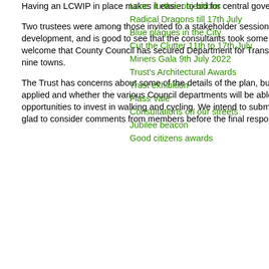Having an LCWIP in place makes it easier to bid for central government funding.
Two trustees were among those invited to a stakeholder session in January 2020, when the plan was under development, and is good to see that the consultants took some of our comments on board in the final plan. It is also welcome that County Council has secured Department for Transport (DfT) funding for preparing LCWIPs for a further nine towns.
The Trust has concerns about some of the details of the plan, but also, more generally, about how the plan will be applied and whether the various Council departments will be able to work together to make the most of the opportunities to invest in walking and cycling. We intend to submit a formal response to the Council, but would be very glad to consider comments from members before the final response is prepared.
Lane: further objections
Radical Dragons till 17th July
Blue plaques in the City
Cut the Clutter 11th to 17th July
Miners Gala 9th July 2022
Trust's Architectural Awards
Trust exhibition
Flass Vale
Consultations on our streets
Jubilee beacon
Good citizens awards